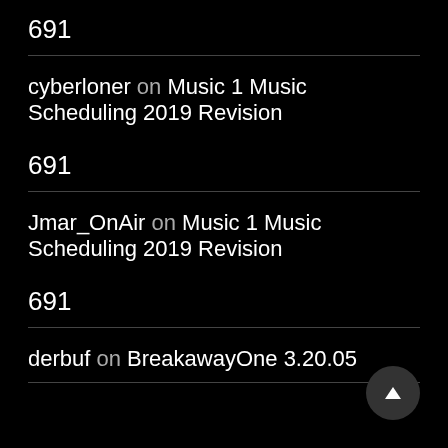691
cyberloner on Music 1 Music Scheduling 2019 Revision
691
Jmar_OnAir on Music 1 Music Scheduling 2019 Revision
691
derbuf on BreakawayOne 3.20.05